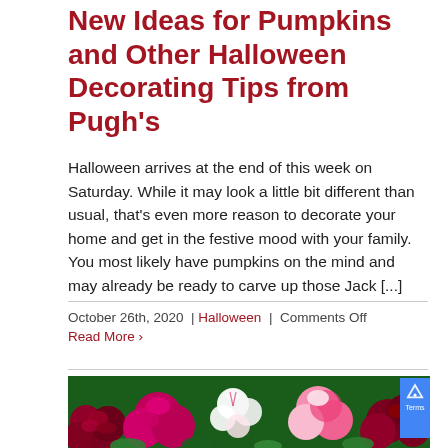New Ideas for Pumpkins and Other Halloween Decorating Tips from Pugh's
Halloween arrives at the end of this week on Saturday. While it may look a little bit different than usual, that's even more reason to decorate your home and get in the festive mood with your family. You most likely have pumpkins on the mind and may already be ready to carve up those Jack [...]
October 26th, 2020  |  Halloween  |  Comments Off
Read More ›
[Figure (photo): A colorful floral arrangement featuring pink roses, white alstroemeria, pink carnations, red roses, and green foliage, photographed from above.]